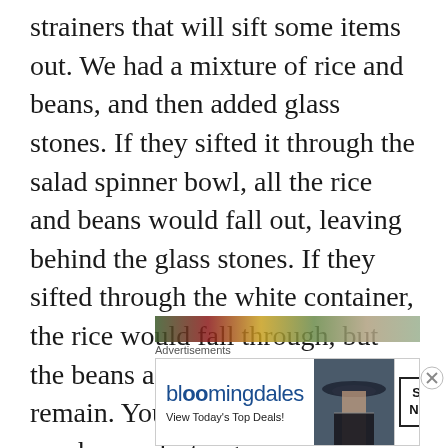strainers that will sift some items out. We had a mixture of rice and beans, and then added glass stones. If they sifted it through the salad spinner bowl, all the rice and beans would fall out, leaving behind the glass stones. If they sifted through the white container, the rice would fall through, but the beans and the stones would remain. You could do lots of other combos – plastic gems in cornmeal, “gold coins” in sand, etc.
[Figure (photo): Partial photo visible at bottom of main content area, showing outdoor scene with green and red tones]
Advertisements
[Figure (photo): Bloomingdale's advertisement banner showing logo, tagline 'View Today's Top Deals!', a woman wearing a large brim hat, and a SHOP NOW button]